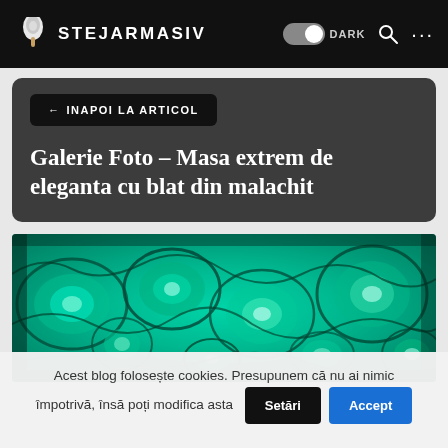STEJARMASIV
← INAPOI LA ARTICOL
Galerie Foto - Masa extrem de eleganta cu blat din malachit
[Figure (photo): Close-up photograph of malachite stone surface with green swirling patterns]
Acest blog folosește cookies. Presupunem că nu ai nimic împotrivă, însă poți modifica asta